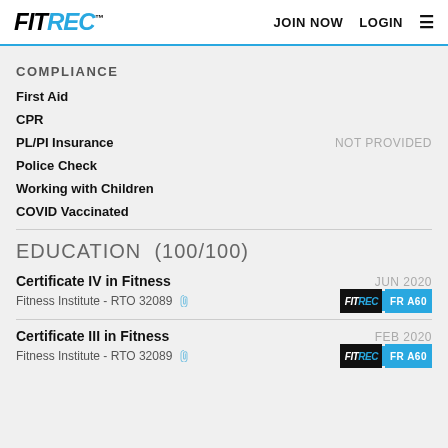FITREC™  JOIN NOW  LOGIN
COMPLIANCE
First Aid
CPR
PL/PI Insurance  NOT PROVIDED
Police Check
Working with Children
COVID Vaccinated
EDUCATION  (100/100)
Certificate IV in Fitness  JUN 2020
Fitness Institute - RTO 32089  FITREC FR A60
Certificate III in Fitness  FEB 2020
Fitness Institute - RTO 32089  FITREC FR A60